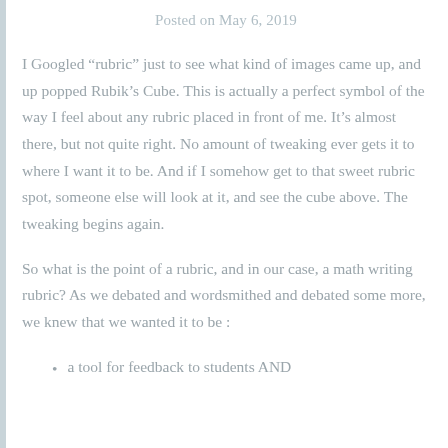Posted on May 6, 2019
I Googled “rubric” just to see what kind of images came up, and up popped Rubik’s Cube. This is actually a perfect symbol of the way I feel about any rubric placed in front of me. It’s almost there, but not quite right. No amount of tweaking ever gets it to where I want it to be. And if I somehow get to that sweet rubric spot, someone else will look at it, and see the cube above. The tweaking begins again.
So what is the point of a rubric, and in our case, a math writing rubric? As we debated and wordsmithed and debated some more, we knew that we wanted it to be :
a tool for feedback to students AND